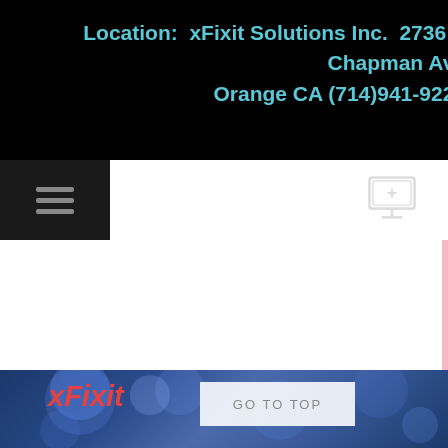Location:  xFixit Solutions Inc.  2736 E Chapman Ave  Orange CA (714)941-9220
[Figure (screenshot): Navigation bar with hamburger menu icon on the left and monitor/computer icon on the right, on a black background]
[Figure (photo): White content area with pink accent edges on left and right sides, partially showing a blurred background image]
[Figure (screenshot): Footer area with dark blue bokeh background, xFixit logo in red italic text on left, and a GO TO TOP button in the center]